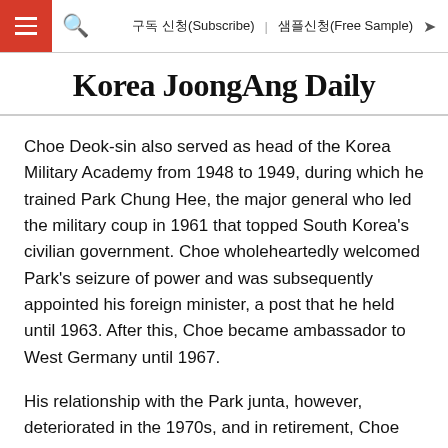구독 신청(Subscribe)   샘플신청(Free Sample)
Korea JoongAng Daily
Choe Deok-sin also served as head of the Korea Military Academy from 1948 to 1949, during which he trained Park Chung Hee, the major general who led the military coup in 1961 that topped South Korea's civilian government. Choe wholeheartedly welcomed Park's seizure of power and was subsequently appointed his foreign minister, a post that he held until 1963. After this, Choe became ambassador to West Germany until 1967.
His relationship with the Park junta, however, deteriorated in the 1970s, and in retirement, Choe Deok-sin immigrated with his wife to the United States in 1976, leaving behind two sons and three daughters in the South. Serving as a leader of Cheondoism - a Korean nativist religion with adherents in both Koreas - Choe